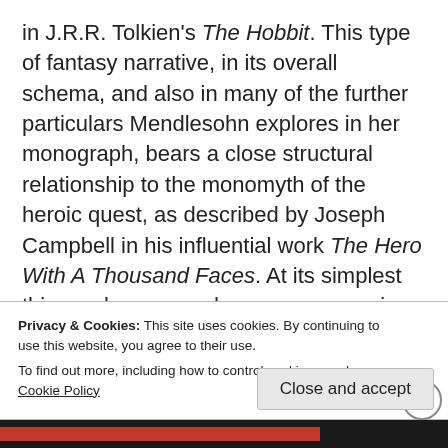in J.R.R. Tolkien's The Hobbit. This type of fantasy narrative, in its overall schema, and also in many of the further particulars Mendlesohn explores in her monograph, bears a close structural relationship to the monomyth of the heroic quest, as described by Joseph Campbell in his influential work The Hero With A Thousand Faces. At its simplest this can be summed up as an excursion from the everyday world familiar to the reader or listener into a domain of supernatural wonders, by a hero figure who is able to disburse remedies or boons on his return (and in the archetypal myths
Privacy & Cookies: This site uses cookies. By continuing to use this website, you agree to their use.
To find out more, including how to control cookies, see here: Cookie Policy
Close and accept